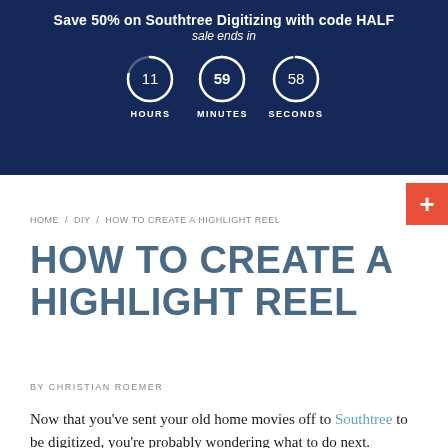Save 50% on Southtree Digitizing with code HALF
sale ends in
11 HOURS  59 MINUTES  58 SECONDS
[Figure (infographic): Countdown timer with three circular progress indicators showing 11 HOURS, 59 MINUTES, 58 SECONDS on a dark navy background]
+
HOME / DIY / HOW TO CREATE A HIGHLIGHT REEL
HOW TO CREATE A HIGHLIGHT REEL
BY CHRISTIAN ROEMER
Now that you’ve sent your old home movies off to Southtree to be digitized, you’re probably wondering what to do next.